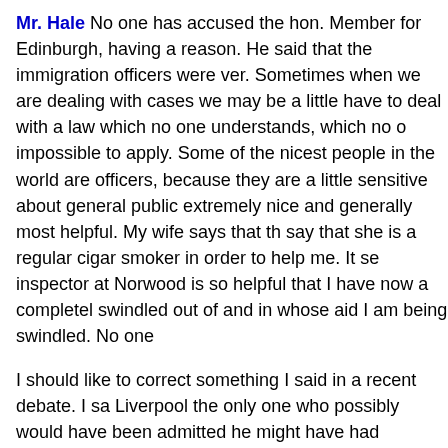Mr. Hale No one has accused the hon. Member for Edinburgh, having a reason. He said that the immigration officers were ver. Sometimes when we are dealing with cases we may be a little have to deal with a law which no one understands, which no o impossible to apply. Some of the nicest people in the world are officers, because they are a little sensitive about general public extremely nice and generally most helpful. My wife says that th say that she is a regular cigar smoker in order to help me. It se inspector at Norwood is so helpful that I have now a completel swindled out of and in whose aid I am being swindled. No one
I should like to correct something I said in a recent debate. I sa Liverpool the only one who possibly would have been admitted he might have had something left of the thirty pieces of silver. A devalued since then, I find that I am historically wrong. I forgot the Enemy Aliens Order. He lived under Tiberius who was an e were much more enlightened than the Government of this cou enemies. Therefore, that would not have been possible. I apolo historical discrepancy.